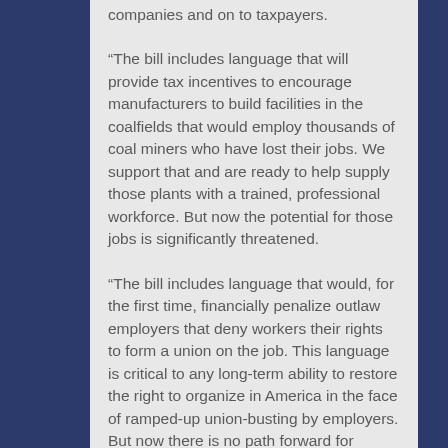companies and on to taxpayers.
“The bill includes language that will provide tax incentives to encourage manufacturers to build facilities in the coalfields that would employ thousands of coal miners who have lost their jobs. We support that and are ready to help supply those plants with a trained, professional workforce. But now the potential for those jobs is significantly threatened.
“The bill includes language that would, for the first time, financially penalize outlaw employers that deny workers their rights to form a union on the job. This language is critical to any long-term ability to restore the right to organize in America in the face of ramped-up union-busting by employers. But now there is no path forward for millions of workers to exercise their rights at work.